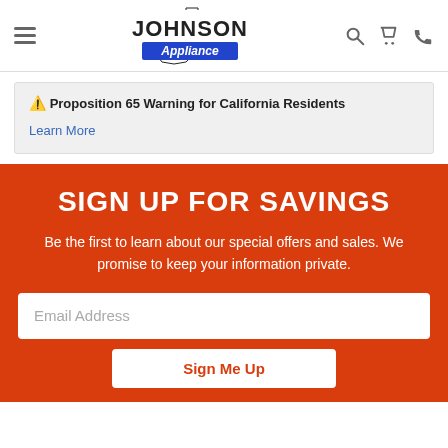Johnson Appliance navigation bar with hamburger menu, logo, search, cart, and phone icons
⚠ Proposition 65 Warning for California Residents
Learn More
SIGN UP FOR SAVINGS
Be the first to learn about our special offers and sales. We promise to keep your information private.
Email Address
Sign Me Up